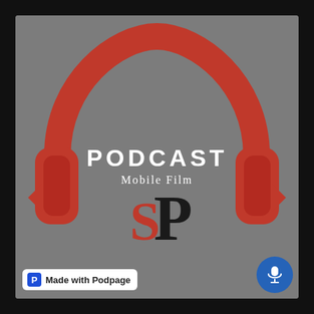[Figure (logo): Podcast Mobile Film logo with red headphones on grey background, SP monogram in red and black, text PODCAST and Mobile Film in white/light text, blue microphone circle badge, Made with Podpage badge]